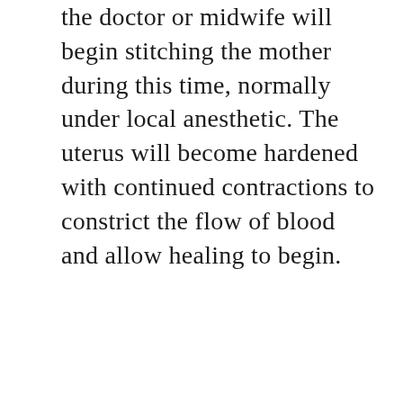the doctor or midwife will begin stitching the mother during this time, normally under local anesthetic. The uterus will become hardened with continued contractions to constrict the flow of blood and allow healing to begin.